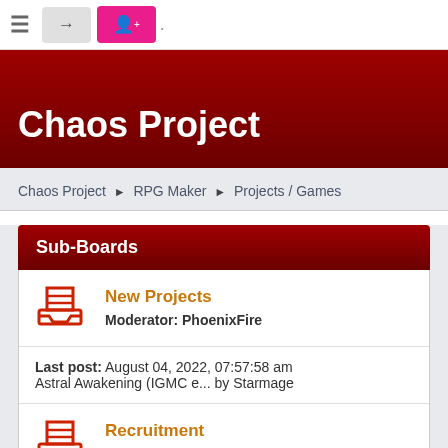≡  →  ✚.
Chaos Project
Chaos Project ► RPG Maker ► Projects / Games
Sub-Boards
New Projects
Moderator: PhoenixFire
Last post: August 04, 2022, 07:57:58 am
Astral Awakening (IGMC e... by Starmage
Recruitment
Moderator: PhoenixFire